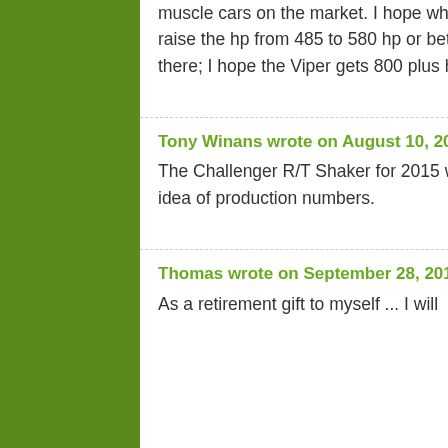muscle cars on the market. I hope when the 2016 charger and challenger Srts come out they raise the hp from 485 to 580 hp or better. Im very happy to see Dodge on top I hope they stay there; I hope the Viper gets 800 plus hp as well.
reply
Tony Winans wrote on August 10, 2015 - 10:23pm    Permalink
The Challenger R/T Shaker for 2015 with 6 speed manual trans, Seems to e hard to get any idea of production numbers.
reply
Thomas wrote on September 28, 2015 - 3:08pm    Permalink
As a retirement gift to myself ... I will